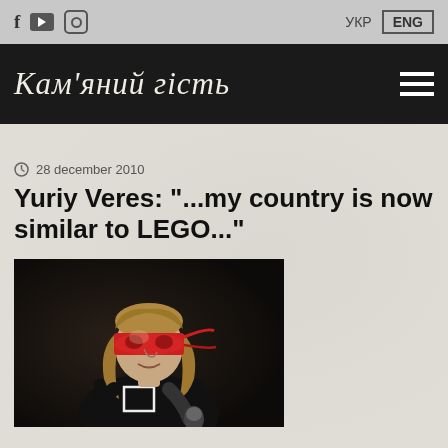f  ▶  ⊙   УКР  ENG
Кам'яний гість
28 december 2010
Yuriy Veres: "...my country is now similar to LEGO..."
[Figure (photo): Photo of Yuriy Veres performing on stage, wearing a red bandana/mask and black t-shirt, holding a microphone]